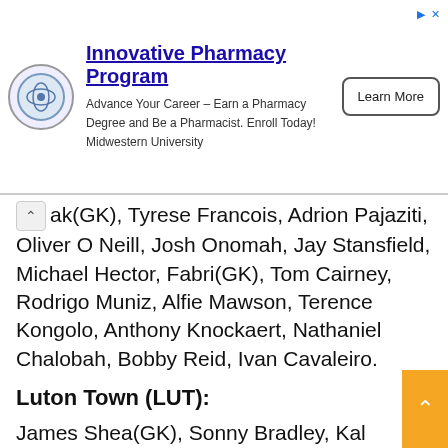[Figure (other): Advertisement banner for Midwestern University Innovative Pharmacy Program with logo, text, and Learn More button]
ak(GK), Tyrese Francois, Adrion Pajaziti, Oliver O Neill, Josh Onomah, Jay Stansfield, Michael Hector, Fabri(GK), Tom Cairney, Rodrigo Muniz, Alfie Mawson, Terence Kongolo, Anthony Knockaert, Nathaniel Chalobah, Bobby Reid, Ivan Cavaleiro.
Luton Town (LUT):
James Shea(GK), Sonny Bradley, Kal Naismith, Reece Burke, James Bree, Robert Snodgrass, Amarii Bell, Allan Campbell, Fred Onyedinma, Harry Cornick, Elijah Adebayo, Daniel Potts, Gabriel Osho, Carlos Mendes, Elliot Thorpe,